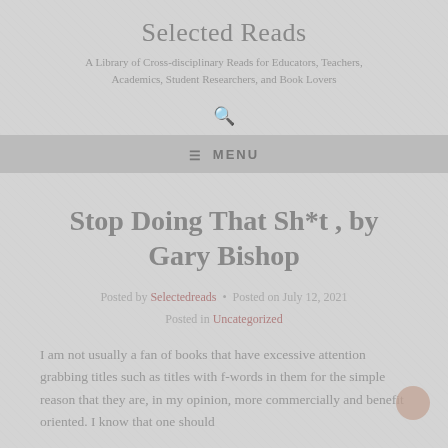Selected Reads
A Library of Cross-disciplinary Reads for Educators, Teachers, Academics, Student Researchers, and Book Lovers
Stop Doing That Sh*t , by Gary Bishop
Posted by Selectedreads • Posted on July 12, 2021 Posted in Uncategorized
I am not usually a fan of books that have excessive attention grabbing titles such as titles with f-words in them for the simple reason that they are, in my opinion, more commercially and benefit oriented. I know that one should